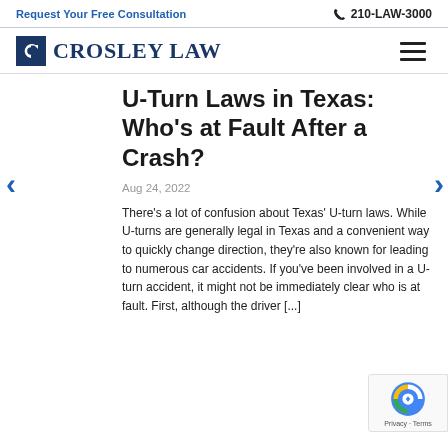Request Your Free Consultation   📞 210-LAW-3000
[Figure (logo): Crosley Law firm logo with dark blue square icon containing stylized C and company name in dark blue serif text]
U-Turn Laws in Texas: Who's at Fault After a Crash?
Aug 24, 2022
There's a lot of confusion about Texas' U-turn laws. While U-turns are generally legal in Texas and a convenient way to quickly change direction, they're also known for leading to numerous car accidents. If you've been involved in a U-turn accident, it might not be immediately clear who is at fault. First, although the driver [...]